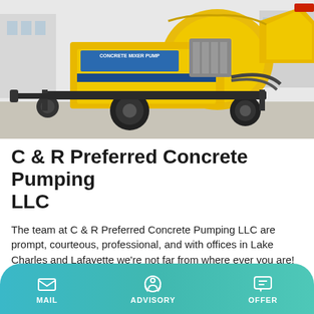[Figure (photo): Yellow concrete mixer pump industrial equipment on a concrete surface, with the text 'CONCRETE MIXER PUMP' on the machine body.]
C & R Preferred Concrete Pumping LLC
The team at C & R Preferred Concrete Pumping LLC are prompt, courteous, professional, and with offices in Lake Charles and Lafayette we're not far from where ever you are! Call dispatch 337-433-1530 today to schedule your concrete pump. Industrial. If you're building …
Learn More
MAIL  ADVISORY  OFFER